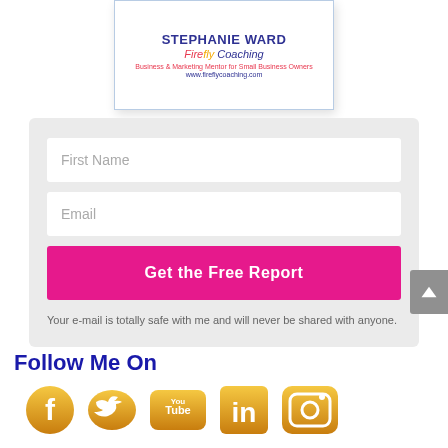[Figure (illustration): Business card for Stephanie Ward, Firefly Coaching. Shows name in dark blue/bold, 'Firefly Coaching' branding in red/gold/blue italic, tagline 'Business & Marketing Mentor for Small Business Owners' in pink, and website www.fireflycoaching.com in blue.]
First Name
Email
Get the Free Report
Your e-mail is totally safe with me and will never be shared with anyone.
Follow Me On
[Figure (illustration): Row of five golden social media icons: Facebook (f), Twitter (bird), YouTube (You Tube), LinkedIn (in), Instagram (camera).]